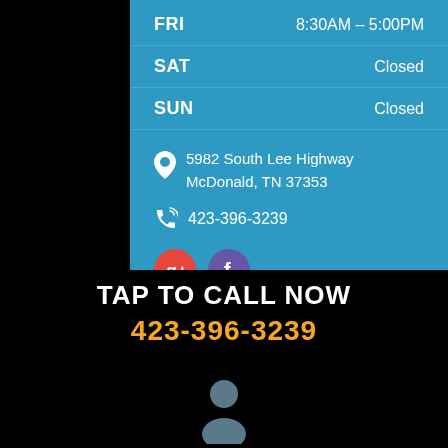| Day | Hours |
| --- | --- |
| FRI | 8:30AM – 5:00PM |
| SAT | Closed |
| SUN | Closed |
5982 South Lee Highway
McDonald, TN 37353
423-396-3239
[Figure (logo): Google+ and Facebook social media icons]
APPOINTMENT REQUEST
TAP TO CALL NOW
423-396-3239
[Figure (illustration): Person/user silhouette icon at bottom]